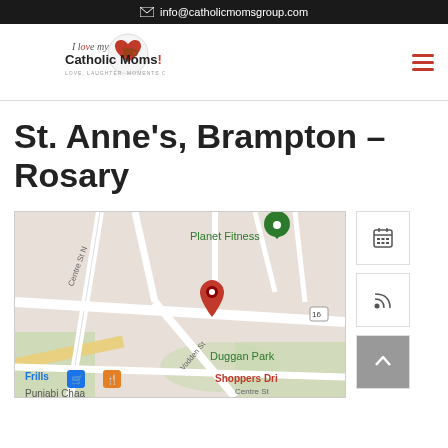info@catholicmomsgroup.com
[Figure (logo): I Love My Catholic Moms Group logo with heart icon and tagline LOVE, LAUGHTER, MOMENTS OF GRACE]
St. Anne's, Brampton – Rosary
[Figure (map): Google Maps showing location near Planet Fitness, Duggan Park, Centre St N, Vodden St, with red pin marker, blue shopping cart and orange fork icon, Shoppers Dri and Punjabi Chaan visible]